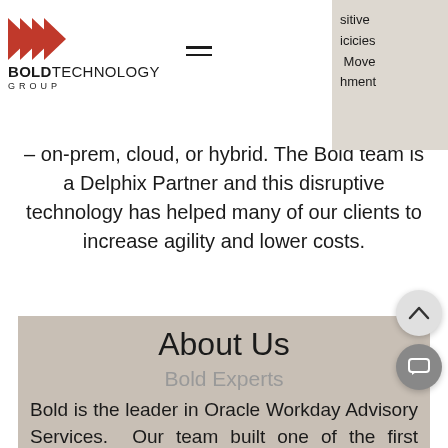[Figure (logo): Bold Technology Group logo with red double chevron arrows and company name]
sitive icicies Move hment
– on-prem, cloud, or hybrid. The Bold team is a Delphix Partner and this disruptive technology has helped many of our clients to increase agility and lower costs.
About Us
Bold Experts
Bold is the leader in Oracle Workday Advisory Services. Our team built one of the first Oracle Advisory firms in Silicon Valley over 17 years ago. We continue